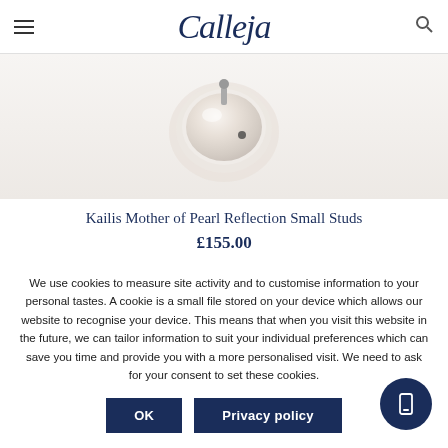Calleja
[Figure (photo): Partial product image of Kailis Mother of Pearl Reflection Small Studs earrings on light background]
Kailis Mother of Pearl Reflection Small Studs
£155.00
We use cookies to measure site activity and to customise information to your personal tastes. A cookie is a small file stored on your device which allows our website to recognise your device. This means that when you visit this website in the future, we can tailor information to suit your individual preferences which can save you time and provide you with a more personalised visit. We need to ask for your consent to set these cookies.
OK | Privacy policy